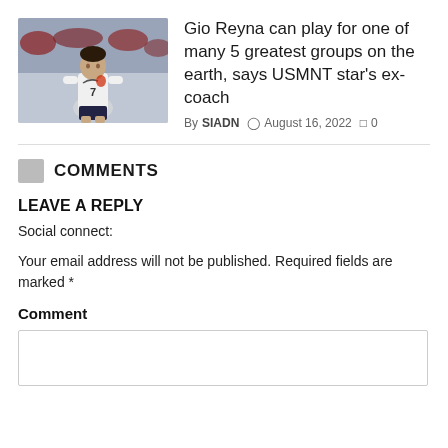[Figure (photo): Soccer player wearing white jersey with number 7 in action]
Gio Reyna can play for one of many 5 greatest groups on the earth, says USMNT star's ex-coach
By SIADN  August 16, 2022  0
COMMENTS
LEAVE A REPLY
Social connect:
Your email address will not be published. Required fields are marked *
Comment